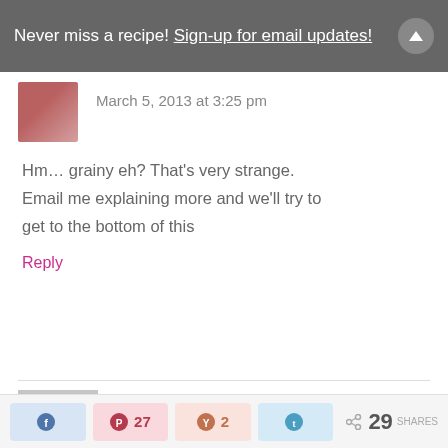Never miss a recipe! Sign-up for email updates!
March 5, 2013 at 3:25 pm
Hm… grainy eh? That's very strange. Email me explaining more and we'll try to get to the bottom of this
Reply
Sarah Hancock says
May 9, 2013 at 4:59 pm